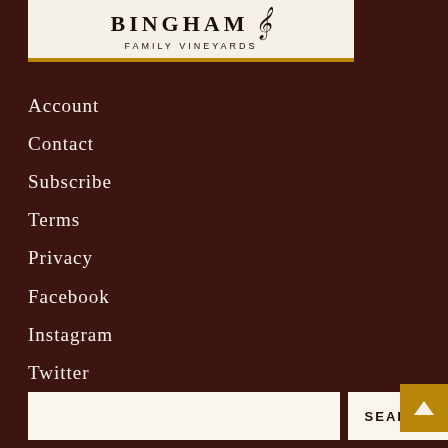[Figure (logo): Bingham Family Vineyards logo with stylized musical B note on cream background with gold bottom border]
Account
Contact
Subscribe
Terms
Privacy
Facebook
Instagram
Twitter
YouTube